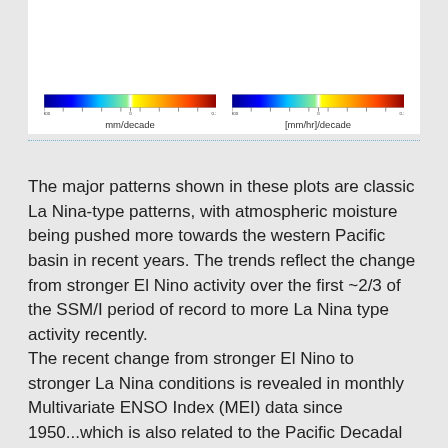[Figure (other): Two side-by-side color scale bars (colorbars) for climate/precipitation maps. Left colorbar labeled 'mm/decade', right colorbar labeled '[mm/hr]/decade'. Both show blue-to-red gradient scales with tick marks.]
The major patterns shown in these plots are classic La Nina-type patterns, with atmospheric moisture being pushed more towards the western Pacific basin in recent years. The trends reflect the change from stronger El Nino activity over the first ~2/3 of the SSM/I period of record to more La Nina type activity recently.
The recent change from stronger El Nino to stronger La Nina conditions is revealed in monthly Multivariate ENSO Index (MEI) data since 1950...which is also related to the Pacific Decadal Oscillation (PDO, some researchers consider the PDO to be a low-frequency